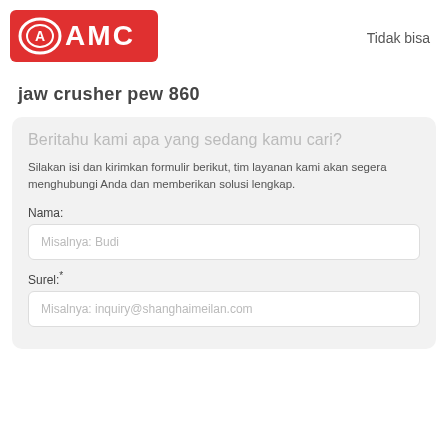[Figure (logo): AMC company logo — red rounded rectangle background with oval A symbol and AMC text in white]
Tidak bisa
jaw crusher pew 860
Beritahu kami apa yang sedang kamu cari?
Silakan isi dan kirimkan formulir berikut, tim layanan kami akan segera menghubungi Anda dan memberikan solusi lengkap.
Nama:
Misalnya: Budi
Surel:*
Misalnya: inquiry@shanghaimeilan.com